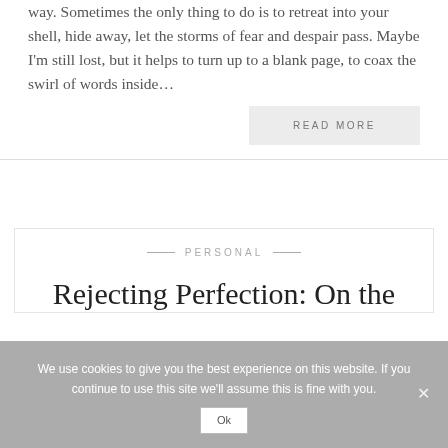way. Sometimes the only thing to do is to retreat into your shell, hide away, let the storms of fear and despair pass. Maybe I'm still lost, but it helps to turn up to a blank page, to coax the swirl of words inside...
READ MORE
PERSONAL
Rejecting Perfection: On the
We use cookies to give you the best experience on this website. If you continue to use this site we'll assume this is fine with you.
Ok